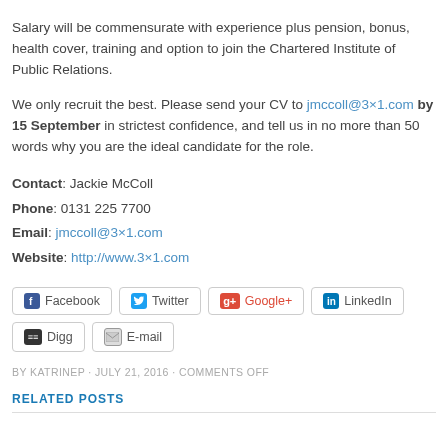Salary will be commensurate with experience plus pension, bonus, health cover, training and option to join the Chartered Institute of Public Relations.
We only recruit the best. Please send your CV to jmccoll@3×1.com by 15 September in strictest confidence, and tell us in no more than 50 words why you are the ideal candidate for the role.
Contact: Jackie McColl
Phone: 0131 225 7700
Email: jmccoll@3×1.com
Website: http://www.3×1.com
[Figure (other): Social sharing buttons: Facebook, Twitter, Google+, LinkedIn, Digg, E-mail]
BY KATRINEP · JULY 21, 2016 · COMMENTS OFF
RELATED POSTS